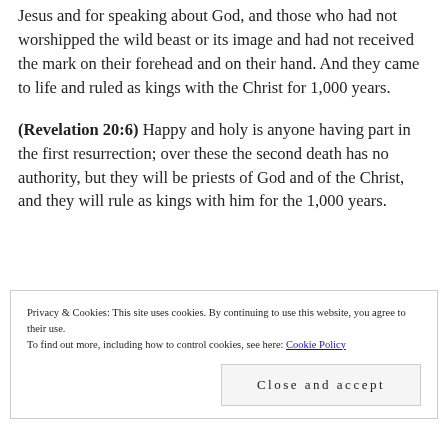Jesus and for speaking about God, and those who had not worshipped the wild beast or its image and had not received the mark on their forehead and on their hand. And they came to life and ruled as kings with the Christ for 1,000 years.
(Revelation 20:6) Happy and holy is anyone having part in the first resurrection; over these the second death has no authority, but they will be priests of God and of the Christ, and they will rule as kings with him for the 1,000 years.
Privacy & Cookies: This site uses cookies. By continuing to use this website, you agree to their use.
To find out more, including how to control cookies, see here: Cookie Policy
Close and accept